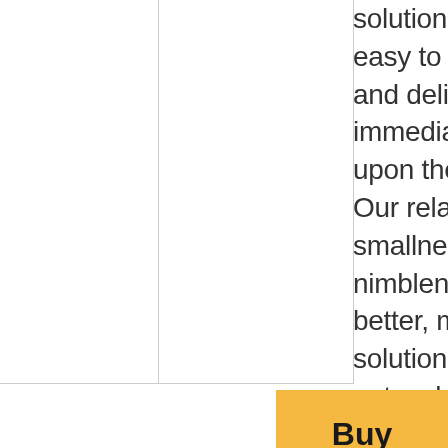solutions that are easy to implement and deliver almost immediate results upon their release. Our relative smallness is also our nimbleness to create better, more valuable solutions, and our network to distribute rivals the largest of the established names. I hope helps answer your
Buy